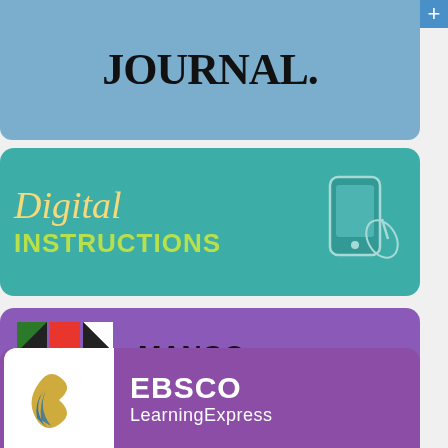[Figure (logo): The Wall Street Journal logo on blue background]
[Figure (infographic): Digital Instructions banner with italic gold 'Digital' and green bold 'INSTRUCTIONS' text on teal background with device icons]
[Figure (logo): Mango Languages logo with colorful M mosaic logo on purple background]
[Figure (logo): EBSCO LearningExpress logo on purple background with ribbon logo]